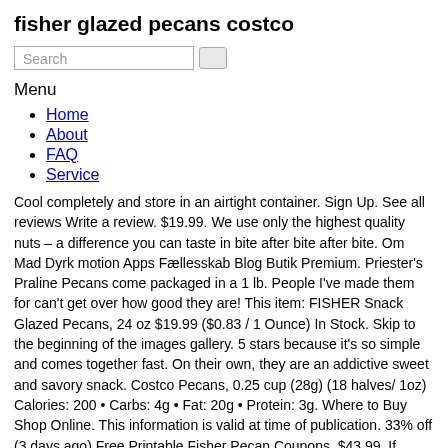fisher glazed pecans costco
Search
Menu
Home
About
FAQ
Service
Cool completely and store in an airtight container. Sign Up. See all reviews Write a review. $19.99. We use only the highest quality nuts – a difference you can taste in bite after bite after bite. Om Mad Dyrk motion Apps Fællesskab Blog Butik Premium. Priester's Praline Pecans come packaged in a 1 lb. People I've made them for can't get over how good they are! This item: FISHER Snack Glazed Pecans, 24 oz $19.99 ($0.83 / 1 Ounce) In Stock. Skip to the beginning of the images gallery. 5 stars because it's so simple and comes together fast. On their own, they are an addictive sweet and savory snack. Costco Pecans, 0.25 cup (28g) (18 halves/ 1oz) Calories: 200 • Carbs: 4g • Fat: 20g • Protein: 3g. Where to Buy Shop Online. This information is valid at time of publication. 33% off (3 days ago) Free Printable Fisher Pecan Coupons. $43.99. If